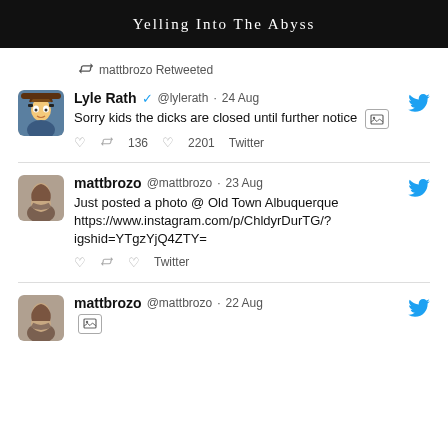Yelling Into The Abyss
mattbrozo Retweeted
Lyle Rath @lylerath · 24 Aug
Sorry kids the dicks are closed until further notice
[image] 136 retweets 2201 likes Twitter
mattbrozo @mattbrozo · 23 Aug
Just posted a photo @ Old Town Albuquerque https://www.instagram.com/p/ChldyrDurTG/?igshid=YTgzYjQ4ZTY=
Twitter
mattbrozo @mattbrozo · 22 Aug
[image]